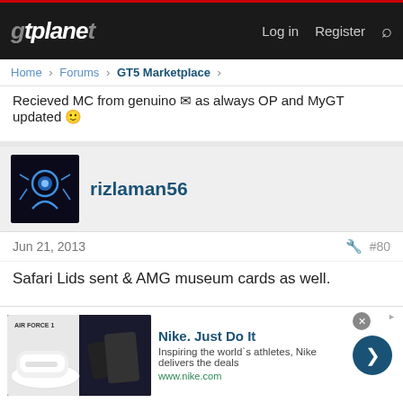gtplanet — Log in  Register
Home › Forums › GT5 Marketplace ›
Recieved MC from genuino ✉ as always OP and MyGT updated 🙂
rizlaman56
Jun 21, 2013  #80
Safari Lids sent & AMG museum cards as well.
[Figure (screenshot): Nike advertisement banner with shoe image, Nike. Just Do It heading, tagline 'Inspiring the world's athletes, Nike delivers the deals', www.nike.com URL, and a blue arrow button]